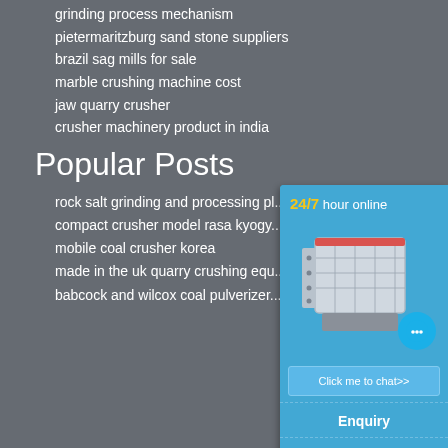grinding process mechanism
pietermaritzburg sand stone suppliers
brazil sag mills for sale
marble crushing machine cost
jaw quarry crusher
crusher machinery product in india
Popular Posts
rock salt grinding and processing pl...
compact crusher model rasa kyogy...
mobile coal crusher korea
made in the uk quarry crushing equ...
babcock and wilcox coal pulverizer...
[Figure (infographic): 24/7 hour online chat widget with crusher machine image, chat bubble icon with ellipsis, 'Click me to chat>>' button, 'Enquiry' label, and 'limingjlmofen' text at bottom.]